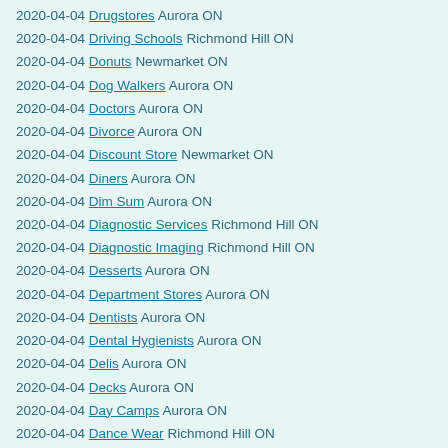2020-04-04 Drugstores Aurora ON
2020-04-04 Driving Schools Richmond Hill ON
2020-04-04 Donuts Newmarket ON
2020-04-04 Dog Walkers Aurora ON
2020-04-04 Doctors Aurora ON
2020-04-04 Divorce Aurora ON
2020-04-04 Discount Store Newmarket ON
2020-04-04 Diners Aurora ON
2020-04-04 Dim Sum Aurora ON
2020-04-04 Diagnostic Services Richmond Hill ON
2020-04-04 Diagnostic Imaging Richmond Hill ON
2020-04-04 Desserts Aurora ON
2020-04-04 Department Stores Aurora ON
2020-04-04 Dentists Aurora ON
2020-04-04 Dental Hygienists Aurora ON
2020-04-04 Delis Aurora ON
2020-04-04 Decks Aurora ON
2020-04-04 Day Camps Aurora ON
2020-04-04 Dance Wear Richmond Hill ON
2020-04-04 Dance Studios Newmarket ON
2020-04-04 Dance Schools Newmarket ON
2020-04-04 DJs Richmond Hill ON